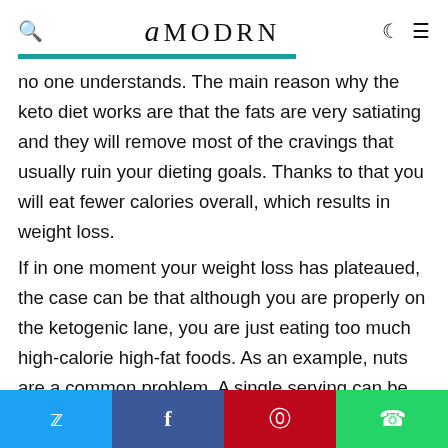amodrn
no one understands. The main reason why the keto diet works are that the fats are very satiating and they will remove most of the cravings that usually ruin your dieting goals. Thanks to that you will eat fewer calories overall, which results in weight loss.
If in one moment your weight loss has plateaued, the case can be that although you are properly on the ketogenic lane, you are just eating too much high-calorie high-fat foods. As an example, nuts are a common problem. A single serving can be up to 300 calories. So imagine eating three small handfuls of nuts and your caloric intake will already be almost 1000 calories. You don't need to go crazy about calorie counting, but it's suggested to pay attention to the
Twitter | Facebook | Pinterest | WhatsApp